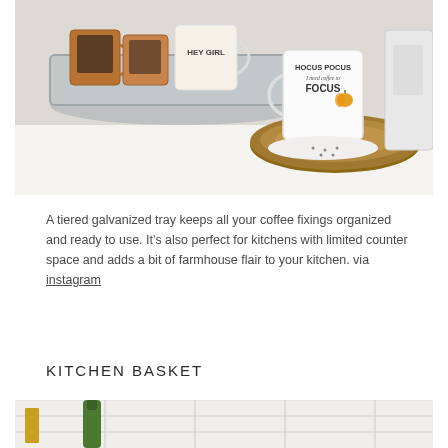[Figure (photo): Kitchen counter scene with coffee mugs on a galvanized tray — copper mugs, a 'HEY GIRL' mug, and a 'HOCUS POCUS I need coffee to FOCUS' mug with a pumpkin graphic sitting on a wood slice coaster next to a coffee maker.]
A tiered galvanized tray keeps all your coffee fixings organized and ready to use. It's also perfect for kitchens with limited counter space and adds a bit of farmhouse flair to your kitchen. via instagram
KITCHEN BASKET
[Figure (photo): Partial photo of a kitchen basket scene with a green bottle visible against white tile backsplash.]